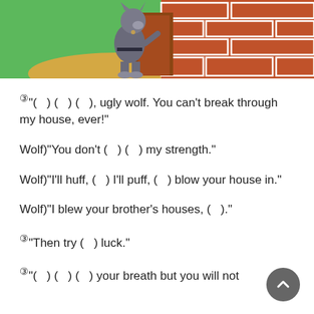[Figure (illustration): Cartoon wolf standing at a brick house doorway with green background]
③"(   ) (   ) (   ), ugly wolf. You can't break through my house, ever!"
Wolf)"You don't (   ) (   ) my strength."
Wolf)"I'll huff, (   ) I'll puff, (   ) blow your house in."
Wolf)"I blew your brother's houses, (   )."
③"Then try (   ) luck."
③"(   ) (   ) (   ) your breath but you will not succeed!"